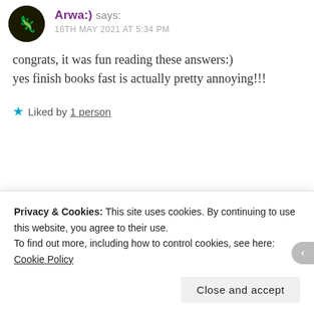Arwa:) says:
16TH MAY 2021 AT 5:34 PM
congrats, it was fun reading these answers:)
yes finish books fast is actually pretty annoying!!!
Liked by 1 person
REPLY
Maya Rajesh says:
Privacy & Cookies: This site uses cookies. By continuing to use this website, you agree to their use.
To find out more, including how to control cookies, see here: Cookie Policy
Close and accept